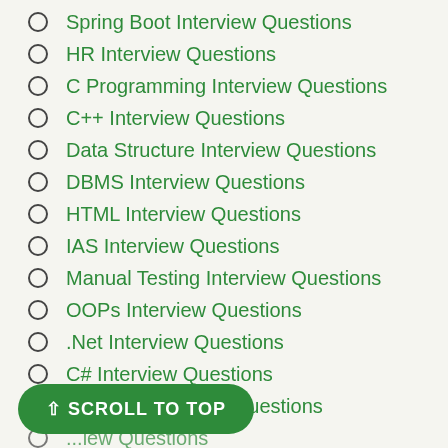Spring Boot Interview Questions
HR Interview Questions
C Programming Interview Questions
C++ Interview Questions
Data Structure Interview Questions
DBMS Interview Questions
HTML Interview Questions
IAS Interview Questions
Manual Testing Interview Questions
OOPs Interview Questions
.Net Interview Questions
C# Interview Questions
ReactJS Interview Questions
...iew Questions (partial)
...estions (partial)